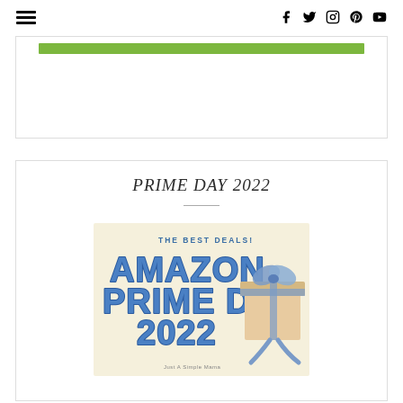≡  [social icons: facebook, twitter, instagram, pinterest, youtube]
[Figure (screenshot): Partially visible green bar element inside a white card, top of page]
PRIME DAY 2022
[Figure (illustration): Amazon Prime Day 2022 promotional image. Cream/yellow background with bold blue 3D letters reading 'AMAZON PRIME DAY 2022' and subtitle 'THE BEST DEALS!' in smaller text. A gift box with blue ribbon on the right side. Small text at bottom reads 'Just A Simple Mama'.]